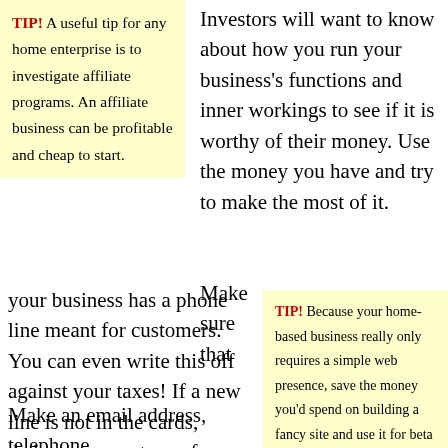TIP! A useful tip for any home enterprise is to investigate affiliate programs. An affiliate business can be profitable and cheap to start.
Investors will want to know about how you run your business's functions and inner workings to see if it is worthy of their money. Use the money you have and try to make the most of it.
Make sure that your business has a phone line meant for customers. You can even write this off against your taxes! If a new line is not in the cards, deduct a percentage of your bill.
TIP! Because your home-based business really only requires a simple web presence, save the money you'd spend on building a fancy site and use it for beta testing. You
Make an email address, telephone